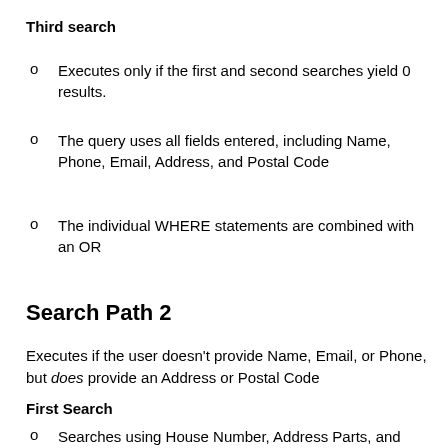Third search
Executes only if the first and second searches yield 0 results.
The query uses all fields entered, including Name, Phone, Email, Address, and Postal Code
The individual WHERE statements are combined with an OR
Search Path 2
Executes if the user doesn't provide Name, Email, or Phone, but does provide an Address or Postal Code
First Search
Searches using House Number, Address Parts, and